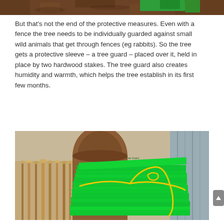[Figure (photo): Top portion of a photo showing brown mulch or soil with a green tree guard or container visible at the top edge.]
But that's not the end of the protective measures. Even with a fence the tree needs to be individually guarded against small wild animals that get through fences (eg rabbits). So the tree gets a protective sleeve – a tree guard – placed over it, held in place by two hardwood stakes. The tree guard also creates humidity and warmth, which helps the tree establish in its first few months.
[Figure (photo): A stack of flat green corrugated plastic tree guards (sleeves) bound with a yellow rope/cord, with wooden stakes visible on the left side, and a grey corrugated metal wall in the background.]